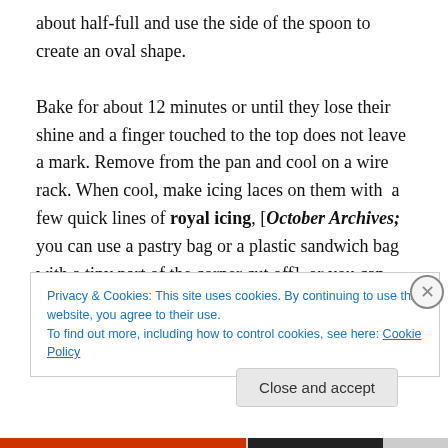about half-full and use the side of the spoon to create an oval shape.

Bake for about 12 minutes or until they lose their shine and a finger touched to the top does not leave a mark. Remove from the pan and cool on a wire rack. When cool, make icing laces on them with  a few quick lines of royal icing, [October Archives; you can use a pastry bag or a plastic sandwich bag with a tiny part of the corner cut off], or you can use 'cookie icing' available at most retail grocers.('Cookie icing' will become firm when dry; do not
Privacy & Cookies: This site uses cookies. By continuing to use this website, you agree to their use.
To find out more, including how to control cookies, see here: Cookie Policy
Close and accept